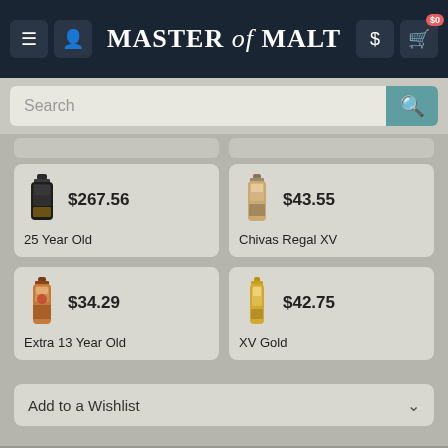MASTER of MALT
Search
$267.56 — 25 Year Old
$43.55 — Chivas Regal XV
$34.29 — Extra 13 Year Old
$42.75 — XV Gold
Add to a Wishlist
Consider this similar product...